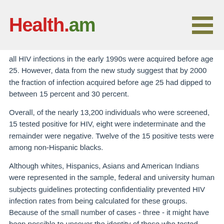Health.am
all HIV infections in the early 1990s were acquired before age 25. However, data from the new study suggest that by 2000 the fraction of infection acquired before age 25 had dipped to between 15 percent and 30 percent.
Overall, of the nearly 13,200 individuals who were screened, 15 tested positive for HIV, eight were indeterminate and the remainder were negative. Twelve of the 15 positive tests were among non-Hispanic blacks.
Although whites, Hispanics, Asians and American Indians were represented in the sample, federal and university human subjects guidelines protecting confidentiality prevented HIV infection rates from being calculated for these groups. Because of the small number of cases - three - it might have been possible to uncover the identity of those who tested positive.
Morris said the results of the study parallel the racial disparities for other sexually transmitted diseases seen in CDC data. For example, rates of gonorrhea are about 17